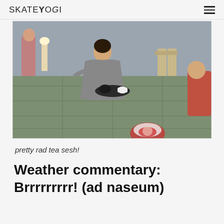SkateYogi
[Figure (photo): A person in a grey kimono kneeling on tatami mats, performing a Japanese tea ceremony. Tea utensils are arranged in front of them. Another person in pink/red clothing sits to the right. A third person stands in the background. A red and white object is blurred in the foreground bottom-right.]
pretty rad tea sesh!
Weather commentary: Brrrrrrrrr! (ad naseum)